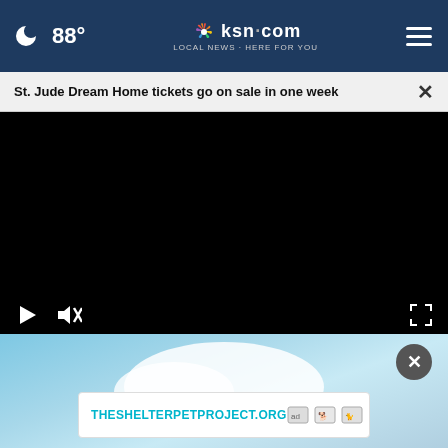88° ksn.com LOCAL NEWS · HERE FOR YOU
St. Jude Dream Home tickets go on sale in one week
[Figure (screenshot): Black video player with play button, mute button, and fullscreen button controls at the bottom]
[Figure (photo): Advertisement banner with light blue background showing mountain/cloud shape. Contains THESHELTERPETPROJECT.ORG link and ad logos. Has a close (x) button.]